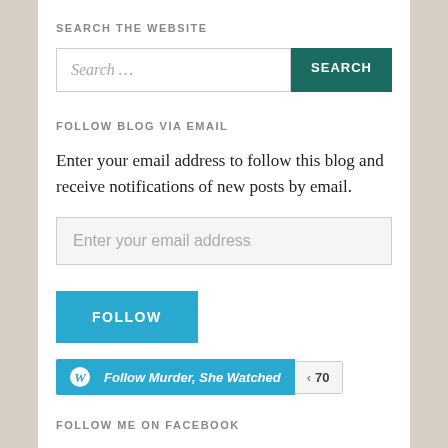SEARCH THE WEBSITE
[Figure (screenshot): Search input field with placeholder 'Search ...' and a teal SEARCH button]
FOLLOW BLOG VIA EMAIL
Enter your email address to follow this blog and receive notifications of new posts by email.
[Figure (screenshot): Email address input field with placeholder 'Enter your email address']
[Figure (screenshot): Blue FOLLOW button]
[Figure (screenshot): WordPress Follow button for 'Follow Murder, She Watched' with count badge showing 70]
FOLLOW ME ON FACEBOOK